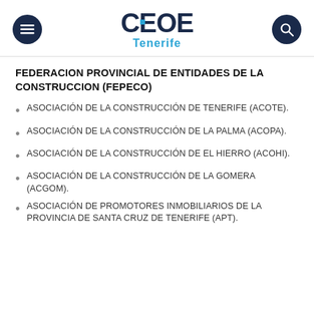CEOE Tenerife
FEDERACION PROVINCIAL DE ENTIDADES DE LA CONSTRUCCION (FEPECO)
ASOCIACIÓN DE LA CONSTRUCCIÓN DE TENERIFE (ACOTE).
ASOCIACIÓN DE LA CONSTRUCCIÓN DE LA PALMA (ACOPA).
ASOCIACIÓN DE LA CONSTRUCCIÓN DE EL HIERRO (ACOHI).
ASOCIACIÓN DE LA CONSTRUCCIÓN DE LA GOMERA (ACGOM).
ASOCIACIÓN DE PROMOTORES INMOBILIARIOS DE LA PROVINCIA DE SANTA CRUZ DE TENERIFE (APT).